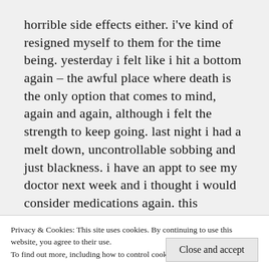horrible side effects either. i've kind of resigned myself to them for the time being. yesterday i felt like i hit a bottom again – the awful place where death is the only option that comes to mind, again and again, although i felt the strength to keep going. last night i had a melt down, uncontrollable sobbing and just blackness. i have an appt to see my doctor next week and i thought i would consider medications again. this morning i woke up calm, peaceful. not happy or giddy or excited, just calm and not depressed. i was able to work without crying or pushing myself. i just did things, it felt quite remarkable. so now, after reading your post, i'm thinking maybe i can
Privacy & Cookies: This site uses cookies. By continuing to use this website, you agree to their use.
To find out more, including how to control cookies, see here: Cookie Policy
Close and accept
and my mood change, albeit for one day at a